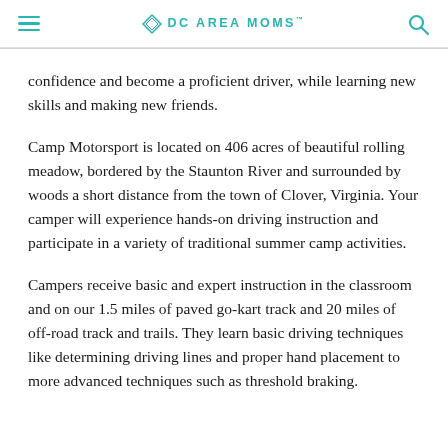DC AREA MOMS
confidence and become a proficient driver, while learning new skills and making new friends.
Camp Motorsport is located on 406 acres of beautiful rolling meadow, bordered by the Staunton River and surrounded by woods a short distance from the town of Clover, Virginia. Your camper will experience hands-on driving instruction and participate in a variety of traditional summer camp activities.
Campers receive basic and expert instruction in the classroom and on our 1.5 miles of paved go-kart track and 20 miles of off-road track and trails. They learn basic driving techniques like determining driving lines and proper hand placement to more advanced techniques such as threshold braking.